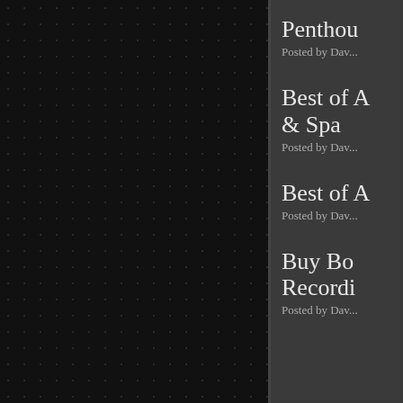[Figure (other): Dark textured left panel with dot pattern on near-black background]
Penthou...
Posted by Dav...
Best of A... & Spa
Posted by Dav...
Best of A...
Posted by Dav...
Buy Bo... Recordi...
Posted by Dav...